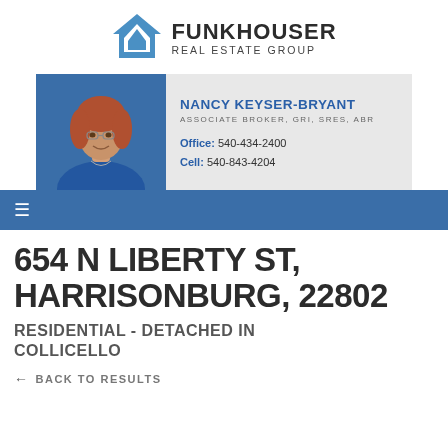[Figure (logo): Funkhouser Real Estate Group logo with blue house icon and text]
[Figure (photo): Headshot of Nancy Keyser-Bryant, a woman with reddish-brown hair and glasses, wearing a blue top, against a blue background]
NANCY KEYSER-BRYANT
ASSOCIATE BROKER, GRI, SRES, ABR
Office: 540-434-2400
Cell: 540-843-4204
654 N LIBERTY ST, HARRISONBURG, 22802
RESIDENTIAL - DETACHED IN COLLICELLO
← BACK TO RESULTS